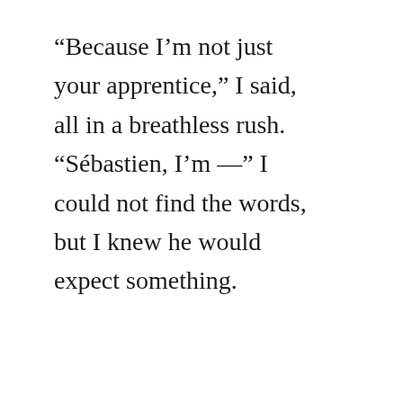“Because I’m not just your apprentice,” I said, all in a breathless rush. “Sébastien, I’m —” I could not find the words, but I knew he would expect something.